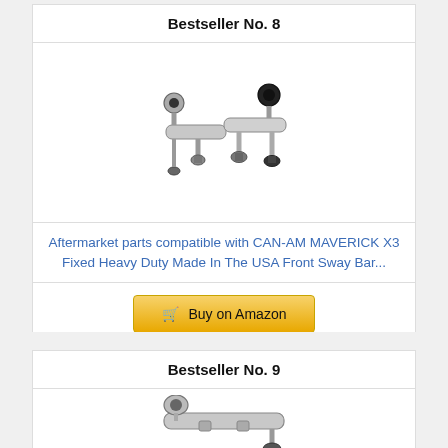Bestseller No. 8
[Figure (photo): Two silver aluminum sway bar end links for CAN-AM Maverick X3, showing ball joints and hardware]
Aftermarket parts compatible with CAN-AM MAVERICK X3 Fixed Heavy Duty Made In The USA Front Sway Bar...
Buy on Amazon
Bestseller No. 9
[Figure (photo): Silver aluminum sway bar component, partially visible at bottom of page]